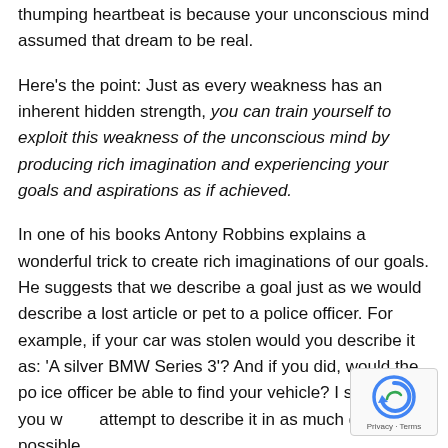thumping heartbeat is because your unconscious mind assumed that dream to be real.
Here's the point: Just as every weakness has an inherent hidden strength, you can train yourself to exploit this weakness of the unconscious mind by producing rich imagination and experiencing your goals and aspirations as if achieved.
In one of his books Antony Robbins explains a wonderful trick to create rich imaginations of our goals. He suggests that we describe a goal just as we would describe a lost article or pet to a police officer. For example, if your car was stolen would you describe it as: 'A silver BMW Series 3'? And if you did, would the police officer be able to find your vehicle? I suppose, you would attempt to describe it in as much detail as possible,
[Figure (other): reCAPTCHA badge with Privacy and Terms text]